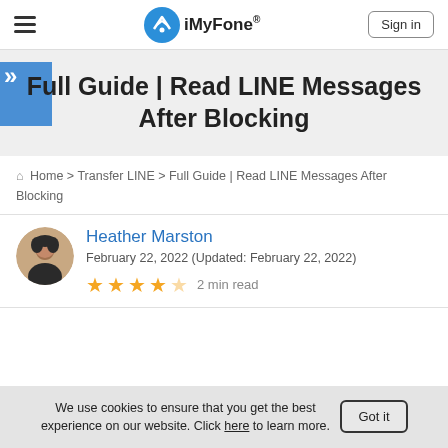iMyFone® Sign in
Full Guide | Read LINE Messages After Blocking
Home > Transfer LINE > Full Guide | Read LINE Messages After Blocking
Heather Marston
February 22, 2022 (Updated: February 22, 2022)
★★★★☆ 2 min read
We use cookies to ensure that you get the best experience on our website. Click here to learn more. Got it